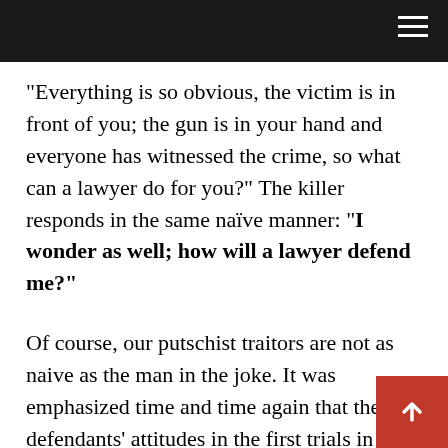“Everything is so obvious, the victim is in front of you; the gun is in your hand and everyone has witnessed the crime, so what can a lawyer do for you?” The killer responds in the same naïve manner: “I wonder as well; how will a lawyer defend me?”
Of course, our putschist traitors are not as naive as the man in the joke. It was emphasized time and time again that the defendants’ attitudes in the first trials in Ankara and Silivri were a complete theatrical performance. In the following stages, things went far beyond that. There are myriads footage of the traitors being caught in the